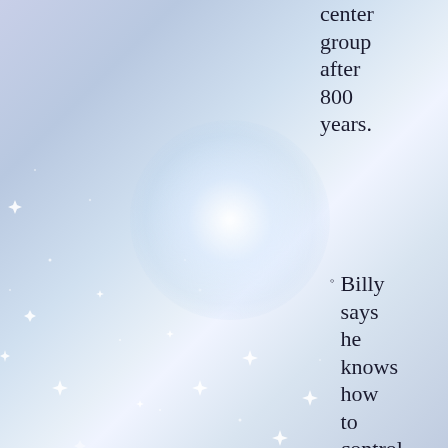center group after 800 years.
Billy says he knows how to control where he incarnates. He learned it in the Himalayas